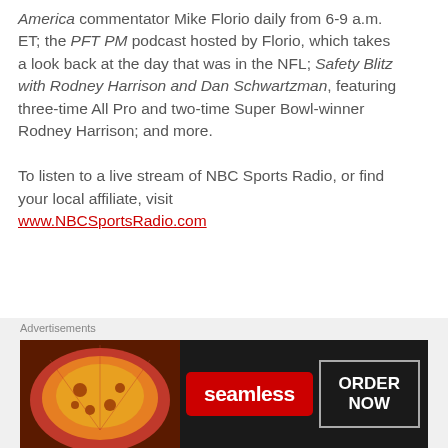America commentator Mike Florio daily from 6-9 a.m. ET; the PFT PM podcast hosted by Florio, which takes a look back at the day that was in the NFL; Safety Blitz with Rodney Harrison and Dan Schwartzman, featuring three-time All Pro and two-time Super Bowl-winner Rodney Harrison; and more.
To listen to a live stream of NBC Sports Radio, or find your local affiliate, visit www.NBCSportsRadio.com
NBC SPORTS REGIONAL NETWORKS
NBC Sports Regional Networks...
[Figure (other): Seamless food delivery advertisement banner with pizza image on left, Seamless logo in center, and ORDER NOW button on right]